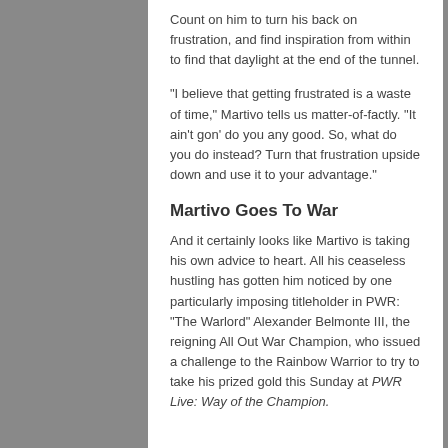Count on him to turn his back on frustration, and find inspiration from within to find that daylight at the end of the tunnel.
"I believe that getting frustrated is a waste of time," Martivo tells us matter-of-factly. "It ain't gon' do you any good. So, what do you do instead? Turn that frustration upside down and use it to your advantage."
Martivo Goes To War
And it certainly looks like Martivo is taking his own advice to heart. All his ceaseless hustling has gotten him noticed by one particularly imposing titleholder in PWR: "The Warlord" Alexander Belmonte III, the reigning All Out War Champion, who issued a challenge to the Rainbow Warrior to try to take his prized gold this Sunday at PWR Live: Way of the Champion.